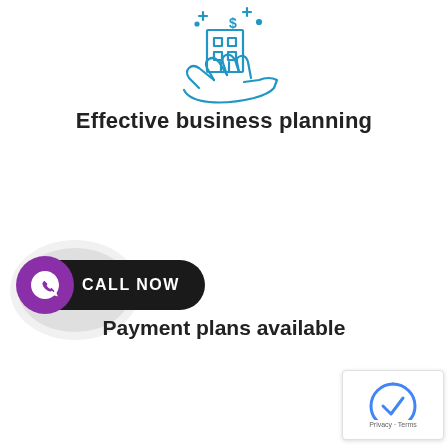[Figure (illustration): Blue line-art icon of a hand holding a building/city with dollar sign and sparkles]
Effective business planning
[Figure (infographic): Call Now button: pill-shaped dark button with purple WhatsApp phone icon on the left and 'CALL NOW' text in white, surrounded by gray concentric circle ripple effect]
Payment plans available
[Figure (logo): Google reCAPTCHA widget showing Privacy and Terms links]